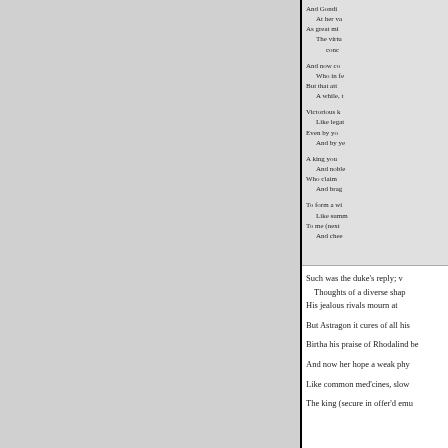And Gondi
  At her va
As great mi
  The virtu
    conc

And now co
  Who in fe
But that att
  A while, t

Victorious k
  Like legat
Even by yo
  And by ye

A king you
  And noble
Who claim
  And brag

To form a wi
  Like summ
To me (next
  And chee
Such was the duke's reply; v
Thoughts of a diverse shap
His jealous rivals mourn at

But Astragon it cures of all his

Birtha his praise of Rhodalind be

And now her hope a weak phy

Like common med'cines, slow

The king (secure in offer'd emu